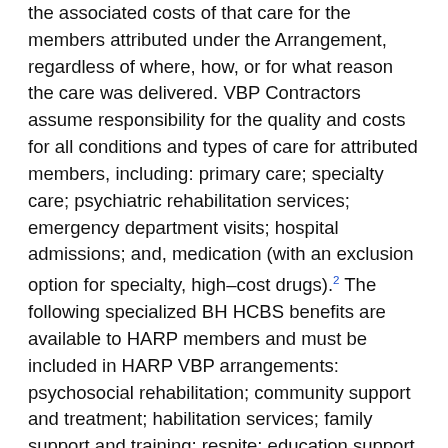the associated costs of that care for the members attributed under the Arrangement, regardless of where, how, or for what reason the care was delivered. VBP Contractors assume responsibility for the quality and costs for all conditions and types of care for attributed members, including: primary care; specialty care; psychiatric rehabilitation services; emergency department visits; hospital admissions; and, medication (with an exclusion option for specialty, high–cost drugs).2 The following specialized BH HCBS benefits are available to HARP members and must be included in HARP VBP arrangements: psychosocial rehabilitation; community support and treatment; habilitation services; family support and training; respite; education support services; peer support services; pre–vocational services; and, employment supports. HARP members must also receive enhanced care management as outlined in the NYS Office of Mental Health's Medicaid Managed Care Request for Qualifications document, to help them coordinate care for physical and